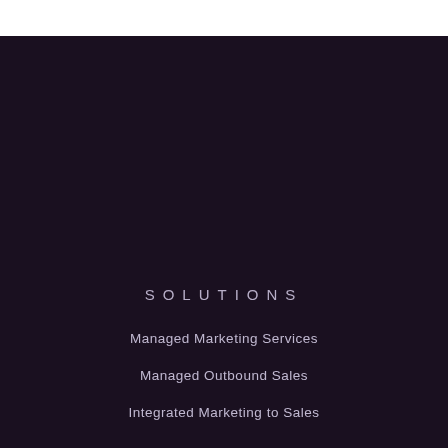SOLUTIONS
Managed Marketing Services
Managed Outbound Sales
Integrated Marketing to Sales